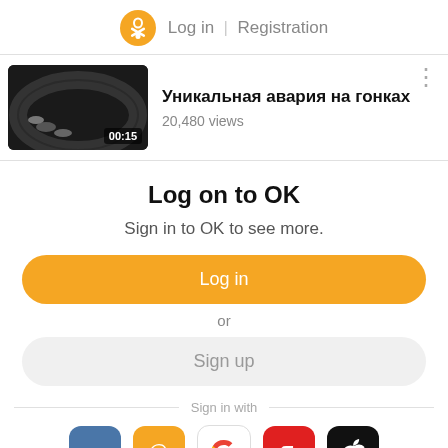Log in | Registration
[Figure (screenshot): Video thumbnail showing racing cars on track, duration 00:15]
Уникальная авария на гонках
20,480 views
Log on to OK
Sign in to OK to see more.
Log in
or
Sign up
Sign in with
[Figure (logo): Social login icons: VK, Mail.ru, Google, Yandex, Apple]